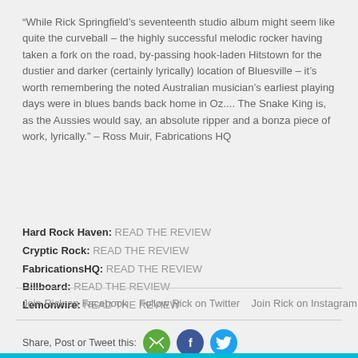“While Rick Springfield’s seventeenth studio album might seem like quite the curveball – the highly successful melodic rocker having taken a fork on the road, by-passing hook-laden Hitstown for the dustier and darker (certainly lyrically) location of Bluesville – it’s worth remembering the noted Australian musician’s earliest playing days were in blues bands back home in Oz.... The Snake King is, as the Aussies would say, an absolute ripper and a bonza piece of work, lyrically.” – Ross Muir, Fabrications HQ
Hard Rock Haven: READ THE REVIEW
Cryptic Rock: READ THE REVIEW
FabricationsHQ: READ THE REVIEW
Billboard: READ THE REVIEW
Lemonwire: READ THE REVIEW
Join Rick on Facebook   Follow Rick on Twitter   Join Rick on Instagram
Share, Post or Tweet this: